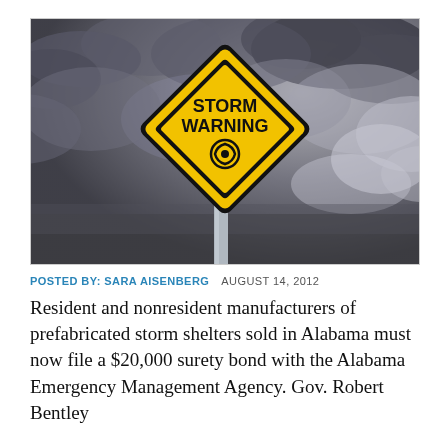[Figure (photo): Storm Warning diamond-shaped yellow road sign with hurricane symbol against dramatic cloudy grey sky]
POSTED BY: SARA AISENBERG   AUGUST 14, 2012
Resident and nonresident manufacturers of prefabricated storm shelters sold in Alabama must now file a $20,000 surety bond with the Alabama Emergency Management Agency. Gov. Robert Bentley